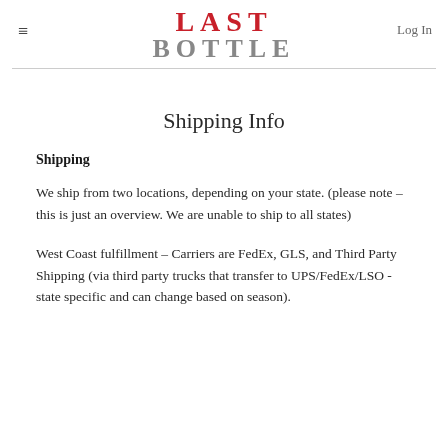≡  LAST BOTTLE  Log In
Shipping Info
Shipping
We ship from two locations, depending on your state. (please note – this is just an overview. We are unable to ship to all states)
West Coast fulfillment – Carriers are FedEx, GLS, and Third Party Shipping (via third party trucks that transfer to UPS/FedEx/LSO - state specific and can change based on season).